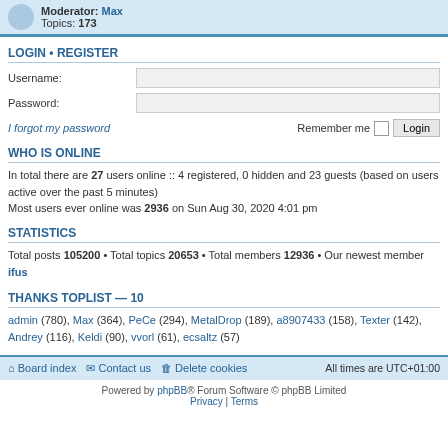Moderator: Max  Topics: 173
LOGIN • REGISTER
Username:
Password:
I forgot my password   Remember me  [checkbox]  Login
WHO IS ONLINE
In total there are 27 users online :: 4 registered, 0 hidden and 23 guests (based on users active over the past 5 minutes)
Most users ever online was 2936 on Sun Aug 30, 2020 4:01 pm
STATISTICS
Total posts 105200 • Total topics 20653 • Total members 12936 • Our newest member ifus
THANKS TOPLIST — 10
admin (780), Max (364), PeCe (294), MetalDrop (189), a8907433 (158), Texter (142), Andrey (116), Keldi (90), vvorl (61), ecsaltz (57)
Board index  Contact us  Delete cookies  All times are UTC+01:00
Powered by phpBB® Forum Software © phpBB Limited  Privacy | Terms